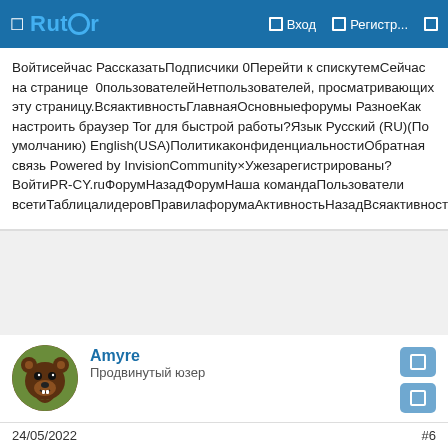Rutor  Вход  Регистр...
Войтисейчас РассказатьПодписчики 0Перейти к спискутемСейчас на странице  0пользователейНетпользователей, просматривающих эту страницу.ВсяактивностьГлавнаяОсновныефорумы РазноеКак настроить браузер Tor для быстрой работы?Язык Русский (RU)(По умолчанию) English(USA)ПолитикаконфиденциальностиОбратная связь Powered by InvisionCommunity×Ужезарегистрированы? ВойтиPR-CY.ruФорумНазадФорумНаша командаПользователи всетиТаблицалидеровПравилафорумаАктивностьНазадВсяактивностьПоискТаблицалидеров×Создать...
[Figure (illustration): User avatar - cartoon bear/animal character]
Amyre
Продвинутый юзер
24/05/2022  #6